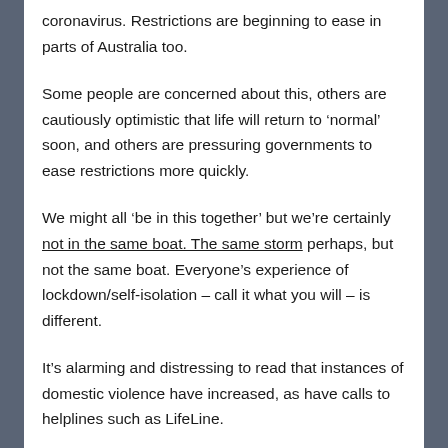coronavirus. Restrictions are beginning to ease in parts of Australia too.
Some people are concerned about this, others are cautiously optimistic that life will return to ‘normal’ soon, and others are pressuring governments to ease restrictions more quickly.
We might all ‘be in this together’ but we’re certainly not in the same boat. The same storm perhaps, but not the same boat. Everyone’s experience of lockdown/self-isolation – call it what you will – is different.
It’s alarming and distressing to read that instances of domestic violence have increased, as have calls to helplines such as LifeLine.
The...